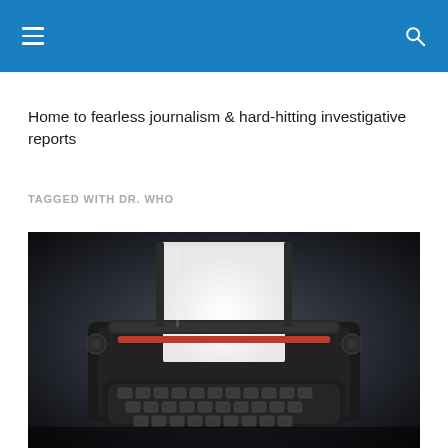Navigation header with hamburger menu and search icon
Home to fearless journalism & hard-hitting investigative reports
TAGGED WITH DR. WHO
[Figure (photo): Close-up photograph of a vintage black typewriter with a blank white sheet of paper inserted, set against a dark background]